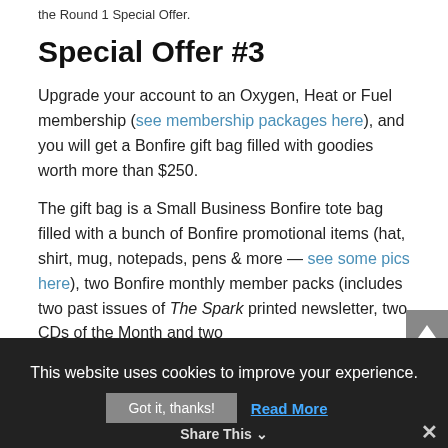the Round 1 Special Offer.
Special Offer #3
Upgrade your account to an Oxygen, Heat or Fuel membership (see membership packages here), and you will get a Bonfire gift bag filled with goodies worth more than $250.
The gift bag is a Small Business Bonfire tote bag filled with a bunch of Bonfire promotional items (hat, shirt, mug, notepads, pens & more — see some pics here), two Bonfire monthly member packs (includes two past issues of The Spark printed newsletter, two CDs of the Month and two
This website uses cookies to improve your experience.
Got it, thanks!
Read More
Share This
✕